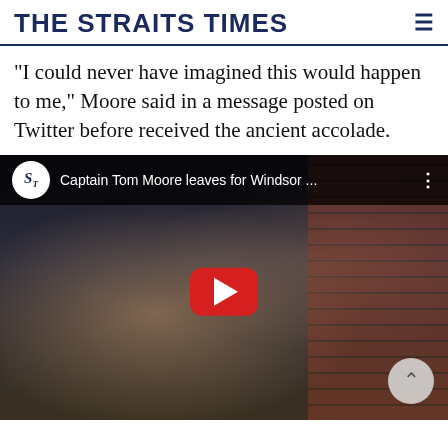THE STRAITS TIMES
"I could never have imagined this would happen to me," Moore said in a message posted on Twitter before received the ancient accolade.
[Figure (screenshot): YouTube video thumbnail showing Captain Tom Moore leaving for Windsor, with a red play button overlay. The ST (Straits Times) logo appears in the top-left of the video player alongside the title 'Captain Tom Moore leaves for Windsor ...' An elderly man wearing glasses is visible in a car, with a man in a suit and blue tie in the background and a brick wall visible.]